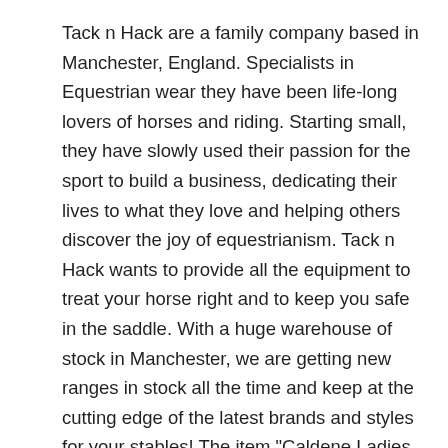Tack n Hack are a family company based in Manchester, England. Specialists in Equestrian wear they have been life-long lovers of horses and riding. Starting small, they have slowly used their passion for the sport to build a business, dedicating their lives to what they love and helping others discover the joy of equestrianism. Tack n Hack wants to provide all the equipment to treat your horse right and to keep you safe in the saddle. With a huge warehouse of stock in Manchester, we are getting new ranges in stock all the time and keep at the cutting edge of the latest brands and styles for your stables! The item "Caldene Ladies Womens Hartpury High Waist Full Suede Seat Horse Riding Breeches" is in sale since Wednesday, August 29, 2018. This item is in the category "Sporting Goods\Equestrian\Clothing & Accessories\Women's Clothing\Jodhpurs & Breeches". The seller is "tack-n-hack" and is located in Manchester.